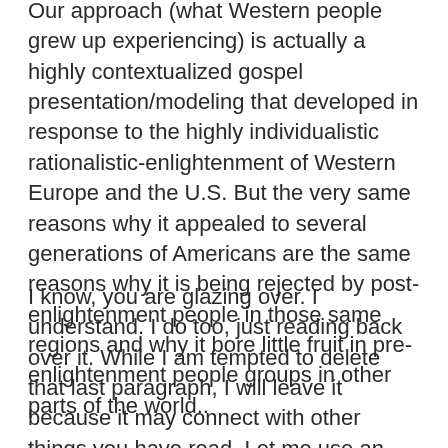Our approach (what Western people grew up experiencing) is actually a highly contextualized gospel presentation/modeling that developed in response to the highly individualistic rationalistic-enlightenment of Western Europe and the U.S. But the very same reasons why it appealed to several generations of Americans are the same reasons why it is being rejected by post-enlightenment people in those same regions and why it bore little fruit in pre-enlightenment people groups in other parts of the world..
I know, you are glazing over. I understand. I do too, just reading back over it. While I am tempted to delete that last paragraph, I will leave it because it may connect with other things you have read. Let me use an analogy, though.